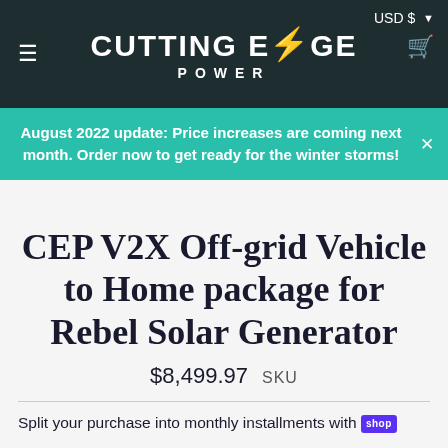CUTTING EDGE POWER — USD $ — Cart
August 2022 update: Price increases are coming next month. Order now to get ready for the winter storms!
CEP V2X Off-grid Vehicle to Home package for Rebel Solar Generator
$8,499.97   SKU
Split your purchase into monthly installments with shop